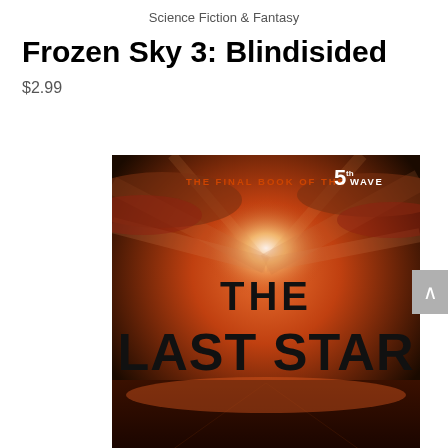Science Fiction & Fantasy
Frozen Sky 3: Blindisided
$2.99
[Figure (photo): Book cover for 'The Last Star' - The Final Book of the 5th Wave. Dark dramatic sky background with fiery sunset, bold black text reading THE LAST STAR at bottom, orange text at top reading THE FINAL BOOK OF THE 5TH WAVE.]